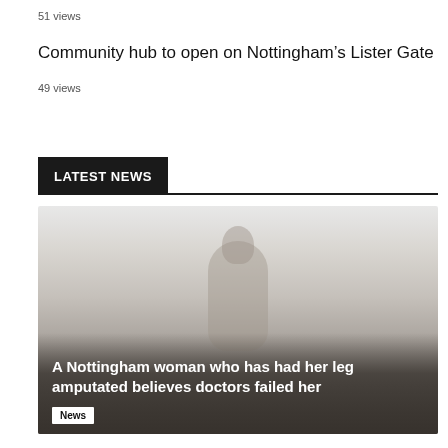51 views
Community hub to open on Nottingham's Lister Gate
49 views
LATEST NEWS
[Figure (photo): A misty, foggy scene with a silhouetted figure of a woman standing in dense fog/mist. The image has a grey, hazy atmosphere. Overlaid text reads: 'A Nottingham woman who has had her leg amputated believes doctors failed her' with a 'News' tag below.]
A Nottingham woman who has had her leg amputated believes doctors failed her